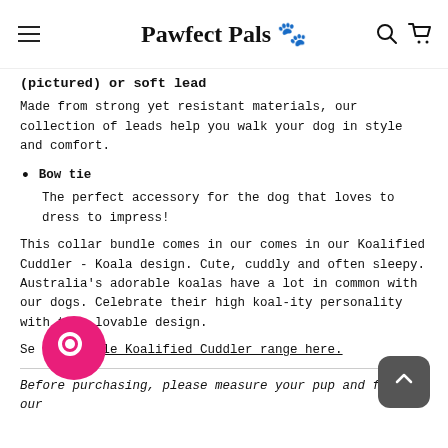Pawfect Pals
(pictured) or soft lead
Made from strong yet resistant materials, our collection of leads help you walk your dog in style and comfort.
Bow tie
The perfect accessory for the dog that loves to dress to impress!
This collar bundle comes in our comes in our Koalified Cuddler - Koala design. Cute, cuddly and often sleepy. Australia's adorable koalas have a lot in common with our dogs. Celebrate their high koal-ity personality with this lovable design.
See the whole Koalified Cuddler range here.
Before purchasing, please measure your pup and follow our